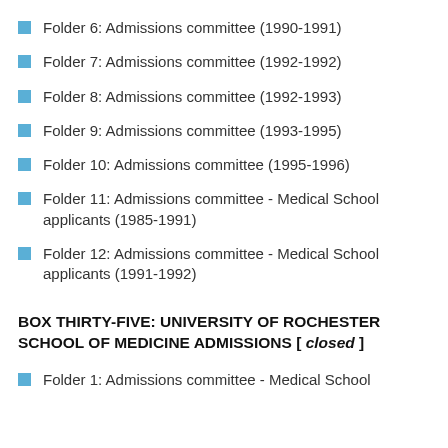Folder 6: Admissions committee (1990-1991)
Folder 7: Admissions committee (1992-1992)
Folder 8: Admissions committee (1992-1993)
Folder 9: Admissions committee (1993-1995)
Folder 10: Admissions committee (1995-1996)
Folder 11: Admissions committee - Medical School applicants (1985-1991)
Folder 12: Admissions committee - Medical School applicants (1991-1992)
BOX THIRTY-FIVE: UNIVERSITY OF ROCHESTER SCHOOL OF MEDICINE ADMISSIONS [ closed ]
Folder 1: Admissions committee - Medical School